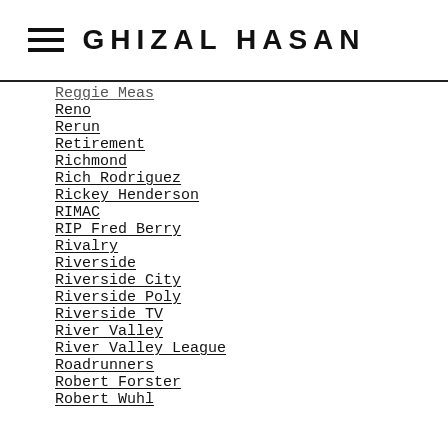GHIZAL HASAN
Reggie Meas
Reno
Rerun
Retirement
Richmond
Rich Rodriguez
Rickey Henderson
RIMAC
RIP Fred Berry
Rivalry
Riverside
Riverside City
Riverside Poly
Riverside TV
River Valley
River Valley League
Roadrunners
Robert Forster
Robert Wuhl